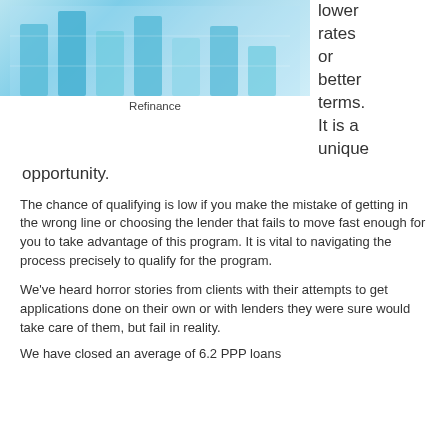[Figure (photo): Photo of a bar chart with blue bars on a light background, representing financial data related to refinancing.]
Refinance
lower rates or better terms. It is a unique opportunity.
The chance of qualifying is low if you make the mistake of getting in the wrong line or choosing the lender that fails to move fast enough for you to take advantage of this program. It is vital to navigating the process precisely to qualify for the program.
We've heard horror stories from clients with their attempts to get applications done on their own or with lenders they were sure would take care of them, but fail in reality.
We have closed an average of 6.2 PPP loans